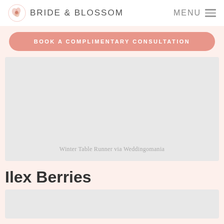BRIDE & BLOSSOM | MENU
BOOK A COMPLIMENTARY CONSULTATION
[Figure (photo): Grey placeholder image area for a winter table runner photo]
Winter Table Runner via Weddingomania
Ilex Berries
[Figure (photo): Grey placeholder image area at bottom, partially visible]